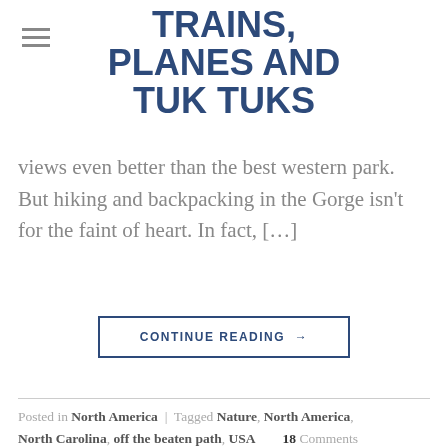TRAINS, PLANES AND TUK TUKS
views even better than the best western park. But hiking and backpacking in the Gorge isn't for the faint of heart. In fact, […]
CONTINUE READING →
Posted in North America | Tagged Nature, North America, North Carolina, off the beaten path, USA    18 Comments
NORTH AMERICA
Moore Cove Falls Trail: Top waterfall hike in Pisgah National Forest